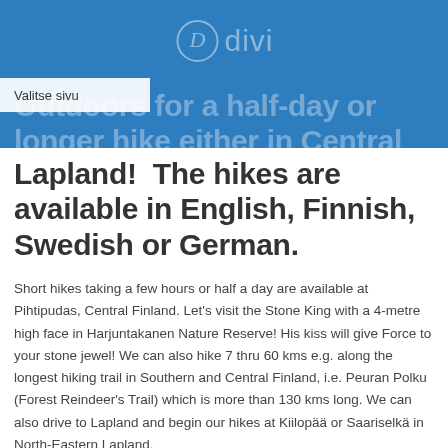Divi logo
Valitse sivu
Outdoors for a half-day or longer hike either in Central Finland or in Lapland!  The hikes are available in English, Finnish, Swedish or German.
Short hikes taking a few hours or half a day are available at Pihtipudas, Central Finland. Let’s visit the Stone King with a 4-metre high face in Harjuntakanen Nature Reserve! His kiss will give Force to your stone jewel! We can also hike 7 thru 60 kms e.g. along the longest hiking trail in Southern and Central Finland, i.e. Peuran Polku (Forest Reindeer’s Trail) which is more than 130 kms long. We can also drive to Lapland and begin our hikes at Kiilopää or Saariselkä in North-Eastern Lapland.